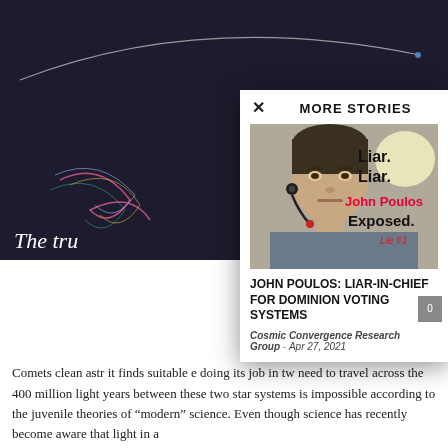[Figure (screenshot): Dark background with colorful arc/comet illustration and partial text 'The tru']
MORE STORIES
[Figure (photo): Image of John Poulos with overlaid text 'Liar. Liar. John Poulos Exposed. Lie #1']
JOHN POULOS: LIAR-IN-CHIEF FOR DOMINION VOTING SYSTEMS
Cosmic Convergence Research Group - Apr 27, 2021
Comets clean astr it finds suitable e doing its job in tw need to travel across the 400 million light years between these two star systems is impossible according to the juvenile theories of "modern" science. Even though science has recently become aware that light in a